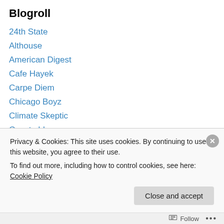Blogroll
24th State
Althouse
American Digest
Cafe Hayek
Carpe Diem
Chicago Boyz
Climate Skeptic
Coyote blog
Downsizing Government
Generacion Y (en Inglés)
Human Progress
Privacy & Cookies: This site uses cookies. By continuing to use this website, you agree to their use.
To find out more, including how to control cookies, see here: Cookie Policy
Follow